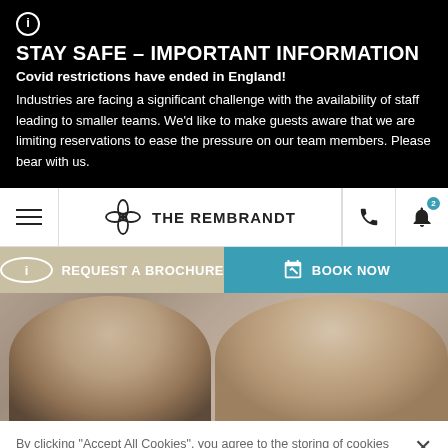STAY SAFE – IMPORTANT INFORMATION
Covid restrictions have ended in England! Industries are facing a significant challenge with the availability of staff leading to smaller teams. We'd like to make guests aware that we are limiting reservations to ease the pressure on our team members. Please bear with us.
[Figure (screenshot): The Rembrandt hotel website navigation bar with logo, hamburger menu, phone icon, and notification bell with badge showing 2]
[Figure (screenshot): Action bar with two buttons: REQUEST A BROCHURE on tan/khaki background and BOOK NOW on teal background]
[Figure (photo): Hero image showing a smiling couple, presumably wedding photo, in warm tones]
By clicking "Accept All Cookies", you agree to the storing of cookies on your device to enhance site navigation, analyze site usage, and assist in our marketing efforts.